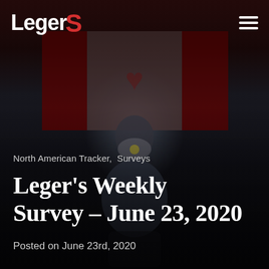[Figure (photo): Dark background image of a man wearing a face mask sitting in front of a Canadian flag, with Leger logo and hamburger menu at top]
Leger
North American Tracker,  Surveys
Leger's Weekly Survey – June 23, 2020
Posted on June 23rd, 2020